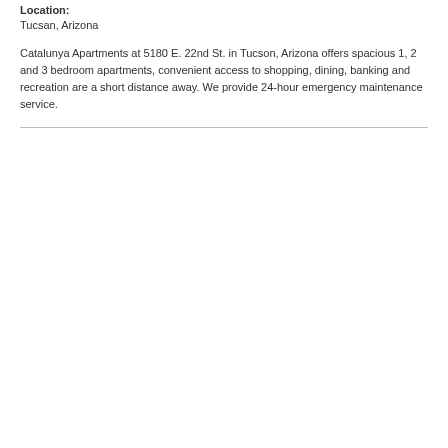Location:
Tucsan, Arizona
Catalunya Apartments at 5180 E. 22nd St. in Tucson, Arizona offers spacious 1, 2 and 3 bedroom apartments, convenient access to shopping, dining, banking and recreation are a short distance away. We provide 24-hour emergency maintenance service.